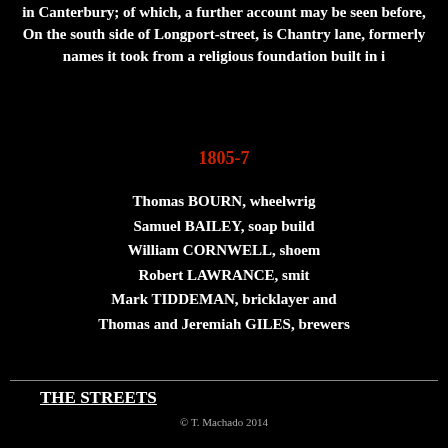in Canterbury; of which, a further account may be seen before, On the south side of Longport-street, is Chantry lane, formerly names it took from a religious foundation built in i
1805-7
Thomas BOURN, wheelwrig
Samuel BAILEY, soap build
William CORNWELL, shoem
Robert LAWRANCE, smit
Mark TIDDEMAN, bricklayer and
Thomas and Jeremiah GILES, brewers
THE STREETS
© T. Machado 2014